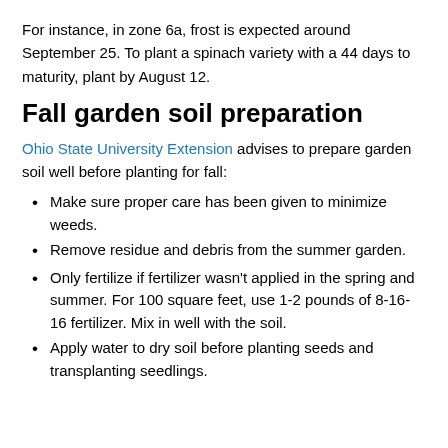For instance, in zone 6a, frost is expected around September 25. To plant a spinach variety with a 44 days to maturity, plant by August 12.
Fall garden soil preparation
Ohio State University Extension advises to prepare garden soil well before planting for fall:
Make sure proper care has been given to minimize weeds.
Remove residue and debris from the summer garden.
Only fertilize if fertilizer wasn't applied in the spring and summer. For 100 square feet, use 1-2 pounds of 8-16-16 fertilizer. Mix in well with the soil.
Apply water to dry soil before planting seeds and transplanting seedlings.